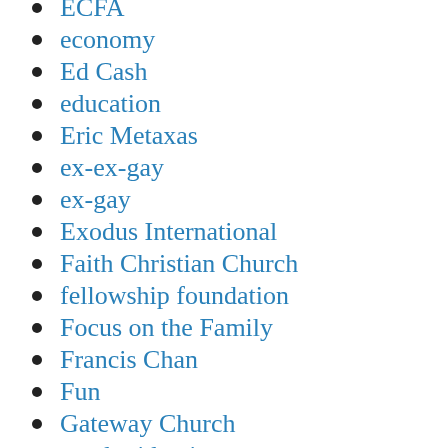ECFA
economy
Ed Cash
education
Eric Metaxas
ex-ex-gay
ex-gay
Exodus International
Faith Christian Church
fellowship foundation
Focus on the Family
Francis Chan
Fun
Gateway Church
gender identity
Getting Jefferson Right
GFA World